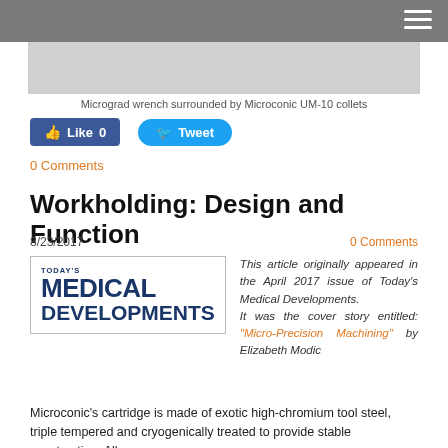[Figure (photo): Micrograd wrench surrounded by Microconic UM-10 collets — gray placeholder image]
Micrograd wrench surrounded by Microconic UM-10 collets
[Figure (infographic): Social media buttons: Like 0 and Tweet]
0 Comments
Workholding: Design and Function
8/23/2017
0 Comments
[Figure (logo): Today's Medical Developments logo]
This article originally appeared in the April 2017 issue of Today's Medical Developments. It was the cover story entitled: "Micro-Precision Machining" by Elizabeth Modic
Microconic's cartridge is made of exotic high-chromium tool steel, triple tempered and cryogenically treated to provide stable construction. All